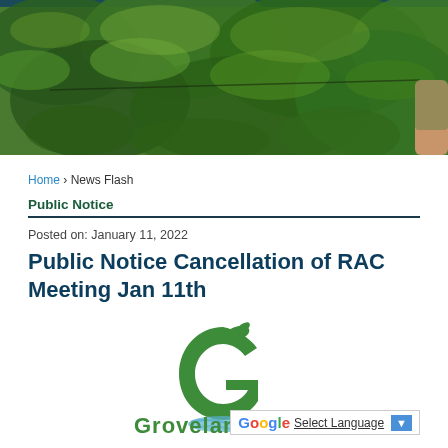[Figure (photo): Outdoor nature photo showing dense green foliage and leaves, with a partial view of a person's hand on the right side. Dark teal/blue bar at very top.]
Home › News Flash
Public Notice
Posted on: January 11, 2022
Public Notice Cancellation of RAC Meeting Jan 11th
[Figure (logo): Grovelan (Groveland) city logo — large green stylized G with a bird and water reflection, partial text 'Grovelan' visible]
G Select Language ▼